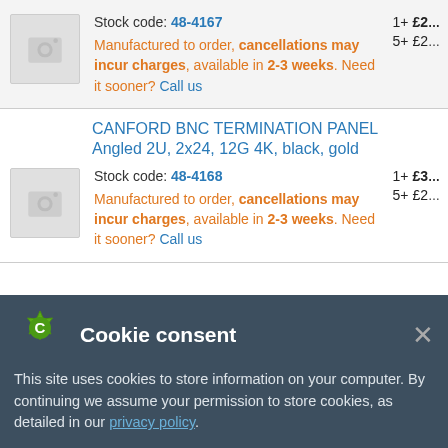Stock code: 48-4167 — Manufactured to order, cancellations may incur charges, available in 2-3 weeks. Need it sooner? Call us
CANFORD BNC TERMINATION PANEL Angled 2U, 2x24, 12G 4K, black, gold
Stock code: 48-4168 — Manufactured to order, cancellations may incur charges, available in 2-3 weeks. Need it sooner? Call us
Cookie consent — This site uses cookies to store information on your computer. By continuing we assume your permission to store cookies, as detailed in our privacy policy.